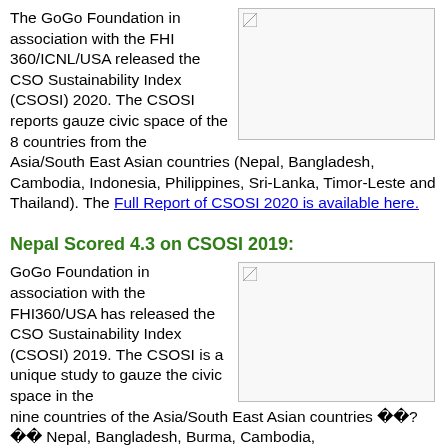The GoGo Foundation in association with the FHI 360/ICNL/USA released the CSO Sustainability Index (CSOSI) 2020. The CSOSI reports gauze civic space of the 8 countries from the Asia/South East Asian countries (Nepal, Bangladesh, Cambodia, Indonesia, Philippines, Sri-Lanka, Timor-Leste and Thailand). The Full Report of CSOSI 2020 is available here.
[Figure (photo): Image placeholder (broken image icon) on the top right]
Nepal Scored 4.3 on CSOSI 2019:
GoGo Foundation in association with the FHI360/USA has released the CSO Sustainability Index (CSOSI) 2019. The CSOSI is a unique study to gauze the civic space in the nine countries of the Asia/South East Asian countries ❓❓ Nepal, Bangladesh, Burma, Cambodia, Indonesia, Philippines, Sri-Lanka, Timor-Leste and ...
[Figure (photo): Image placeholder (broken image icon) on the bottom right]